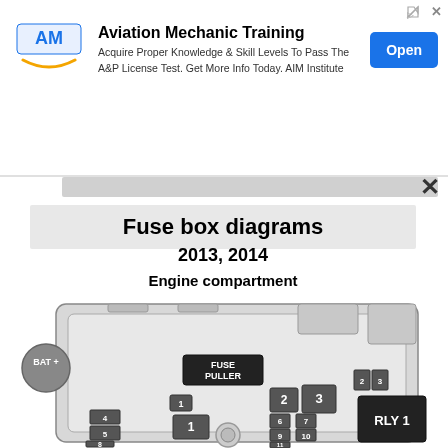[Figure (screenshot): Advertisement banner for AIM Institute Aviation Mechanic Training with logo, text, and Open button]
Fuse box diagrams
2013, 2014
Engine compartment
[Figure (schematic): Engine compartment fuse box diagram showing fuse positions labeled: BAT+, FUSE PULLER, numbered fuses 1-11, RLY 1, and slots 2, 3, 4, 5, 6, 7, 8, 9, 10, 11 with relay positions]